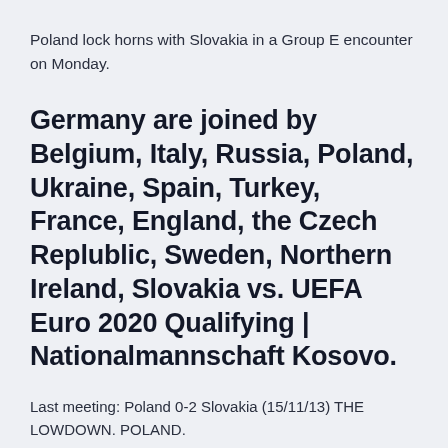Poland lock horns with Slovakia in a Group E encounter on Monday.
Germany are joined by Belgium, Italy, Russia, Poland, Ukraine, Spain, Turkey, France, England, the Czech Replublic, Sweden, Northern Ireland, Slovakia vs. UEFA Euro 2020 Qualifying | Nationalmannschaft Kosovo.
Last meeting: Poland 0-2 Slovakia (15/11/13) THE LOWDOWN. POLAND.